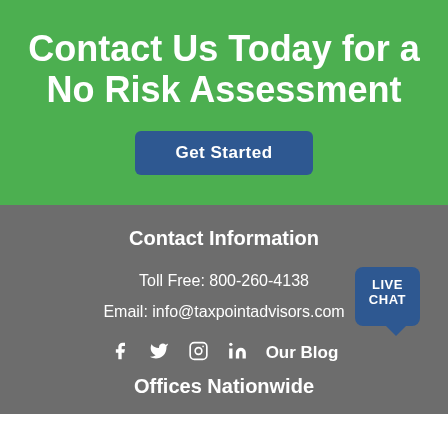Contact Us Today for a No Risk Assessment
Get Started
Contact Information
Toll Free: 800-260-4138
Email: info@taxpointadvisors.com
f  🐦  📷  in   Our Blog
[Figure (other): Live Chat button]
Offices Nationwide